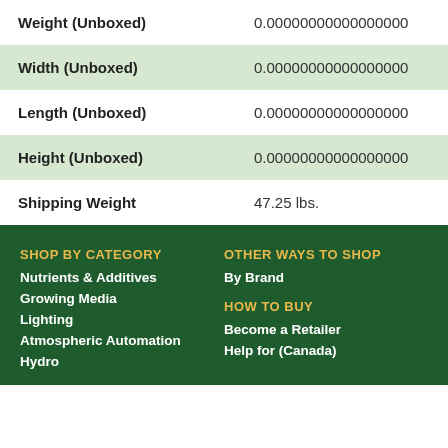| Property | Value |
| --- | --- |
| Weight (Unboxed) | 0.00000000000000000 |
| Width (Unboxed) | 0.00000000000000000 |
| Length (Unboxed) | 0.00000000000000000 |
| Height (Unboxed) | 0.00000000000000000 |
| Shipping Weight | 47.25 lbs. |
SHOP BY CATEGORY
Nutrients & Additives
Growing Media
Lighting
Atmospheric Automation
Hydro
OTHER WAYS TO SHOP
By Brand
HOW TO BUY
Become a Retailer
Help for (Canada)